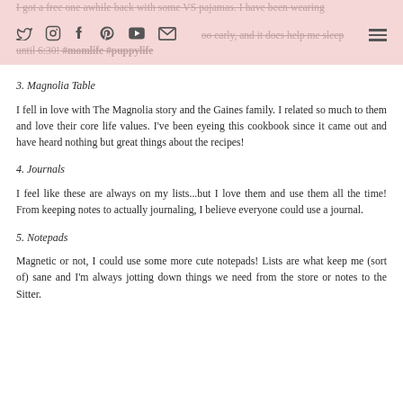I got a free one awhile back with some VS pajamas. I have been wearing [icons] most of that site's items too early, and it does help me sleep until 6:30! #momlife #puppylife
3. Magnolia Table
I fell in love with The Magnolia story and the Gaines family. I related so much to them and love their core life values. I've been eyeing this cookbook since it came out and have heard nothing but great things about the recipes!
4. Journals
I feel like these are always on my lists...but I love them and use them all the time! From keeping notes to actually journaling, I believe everyone could use a journal.
5. Notepads
Magnetic or not, I could use some more cute notepads! Lists are what keep me (sort of) sane and I'm always jotting down things we need from the store or notes to the Sitter.